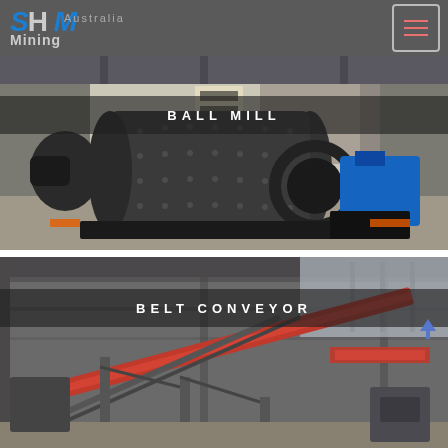SHM Mining Australia
[Figure (photo): Large industrial ball mill machine in a factory/warehouse setting, dark grey cylindrical body with bolted panels, gear drive and blue motor visible]
BALL MILL
[Figure (photo): Industrial belt conveyor system inside a large factory building, showing structural steel framework and conveyor belts]
BELT CONVEYOR